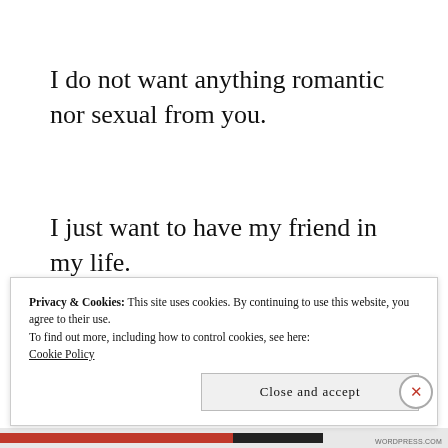I do not want anything romantic nor sexual from you.
I just want to have my friend in my life.
But I guess that would be a one way street forever,
Privacy & Cookies: This site uses cookies. By continuing to use this website, you agree to their use.
To find out more, including how to control cookies, see here: Cookie Policy
Close and accept